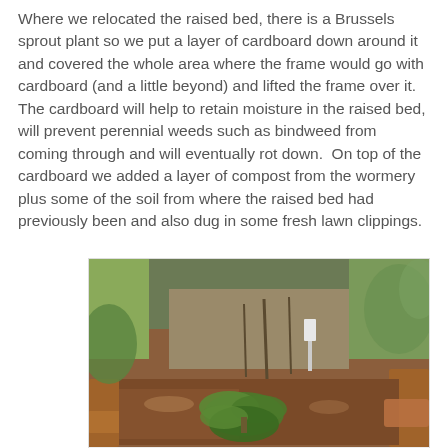Where we relocated the raised bed, there is a Brussels sprout plant so we put a layer of cardboard down around it and covered the whole area where the frame would go with cardboard (and a little beyond) and lifted the frame over it. The cardboard will help to retain moisture in the raised bed, will prevent perennial weeds such as bindweed from coming through and will eventually rot down.  On top of the cardboard we added a layer of compost from the wormery plus some of the soil from where the raised bed had previously been and also dug in some fresh lawn clippings.
[Figure (photo): A raised wooden garden bed with a Brussels sprout or brassica plant growing in the centre, surrounded by soil with garden debris, sticks and foliage visible in the background.]